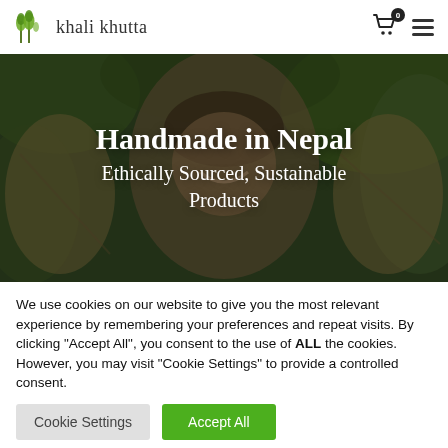khali khutta
[Figure (photo): Photograph of a Nepali person smiling, wearing a traditional headwrap and carrying a large woven basket on their back, surrounded by green foliage]
Handmade in Nepal
Ethically Sourced, Sustainable Products
We use cookies on our website to give you the most relevant experience by remembering your preferences and repeat visits. By clicking "Accept All", you consent to the use of ALL the cookies. However, you may visit "Cookie Settings" to provide a controlled consent.
Cookie Settings | Accept All